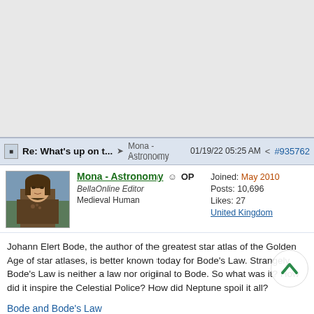Re: What's up on t... → Mona - Astronomy  01/19/22 05:25 AM  < #935762
[Figure (photo): Avatar image of Mona Lisa painting used as user profile picture]
Mona - Astronomy  OP
BellaOnline Editor
Medieval Human
Joined: May 2010
Posts: 10,696
Likes: 27
United Kingdom
Johann Elert Bode, the author of the greatest star atlas of the Golden Age of star atlases, is better known today for Bode's Law. Strangely, Bode's Law is neither a law nor original to Bode. So what was it? How did it inspire the Celestial Police? How did Neptune spoil it all?
Bode and Bode's Law